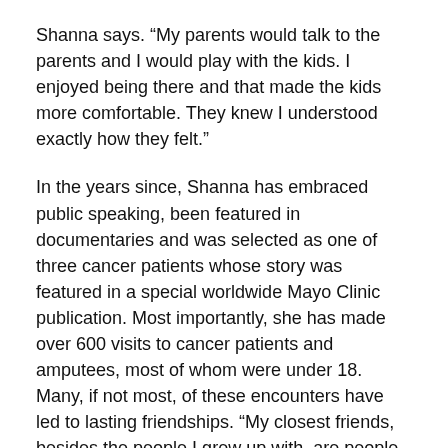Shanna says. “My parents would talk to the parents and I would play with the kids. I enjoyed being there and that made the kids more comfortable. They knew I understood exactly how they felt.”
In the years since, Shanna has embraced public speaking, been featured in documentaries and was selected as one of three cancer patients whose story was featured in a special worldwide Mayo Clinic publication. Most importantly, she has made over 600 visits to cancer patients and amputees, most of whom were under 18. Many, if not most, of these encounters have led to lasting friendships. “My closest friends, besides the people I grew up with, are people that I have met through the cancer world,” she says. “We always say it’s a club that you never want to be a part of, but it’s the best club you could ever be in.”